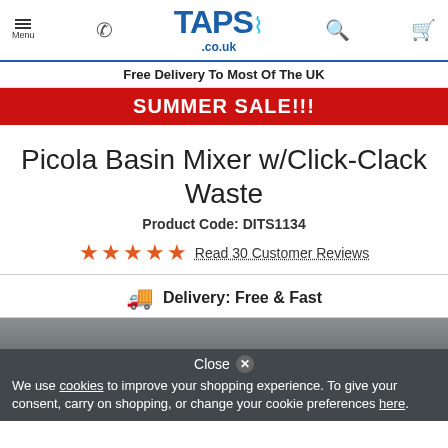TAPS.co.uk — Menu, Phone, Search, Cart
Free Delivery To Most Of The UK
SUMMER SALE!!!
Picola Basin Mixer w/Click-Clack Waste
Product Code: DITS1134
★★★★★ Read 30 Customer Reviews
Delivery: Free & Fast
[Figure (photo): Product photo area showing basin mixer, partially obscured by cookie consent overlay]
Close ✕
We use cookies to improve your shopping experience. To give your consent, carry on shopping, or change your cookie preferences here.